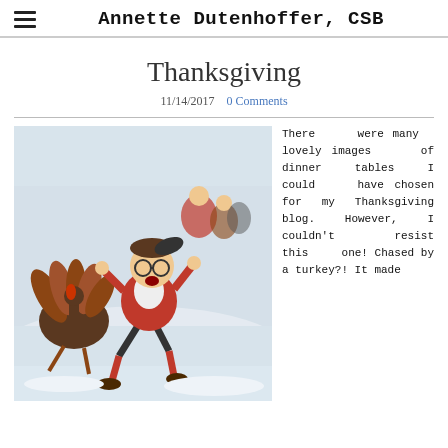Annette Dutenhoffer, CSB
Thanksgiving
11/14/2017   0 Comments
[Figure (illustration): Norman Rockwell-style illustration of a boy in a red sweater and red socks being chased by a turkey in a snowy outdoor scene, with other children watching in the background.]
There were many lovely images of dinner tables I could have chosen for my Thanksgiving blog. However, I couldn't resist this one! Chased by a turkey?! It made